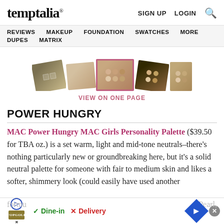temptalia® — SIGN UP  LOGIN  🔍
REVIEWS  MAKEUP  FOUNDATION  SWATCHES  MORE  DUPES  MATRIX
[Figure (photo): Strip of makeup palette swatches/product images, center image highlighted with pink border]
VIEW ON ONE PAGE
POWER HUNGRY
MAC Power Hungry MAC Girls Personality Palette ($39.50 for TBA oz.) is a set warm, light and mid-tone neutrals–there's nothing particularly new or groundbreaking here, but it's a solid neutral palette for someone with fair to medium skin and likes a softer, shimmery look (could easily have used another matte e[ye sha]dow formula[tion]... Pearl,
[Figure (other): Advertisement banner: TopGolf logo, Dine-in checkmark, Delivery X, navigation arrow, close button]